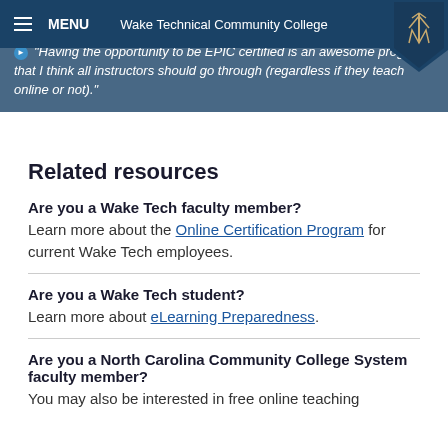Wake Technical Community College
"Having the opportunity to be EPIC certified is an awesome program that I think all instructors should go through (regardless if they teach online or not)."
Related resources
Are you a Wake Tech faculty member?
Learn more about the Online Certification Program for current Wake Tech employees.
Are you a Wake Tech student?
Learn more about eLearning Preparedness.
Are you a North Carolina Community College System faculty member?
You may also be interested in free online teaching